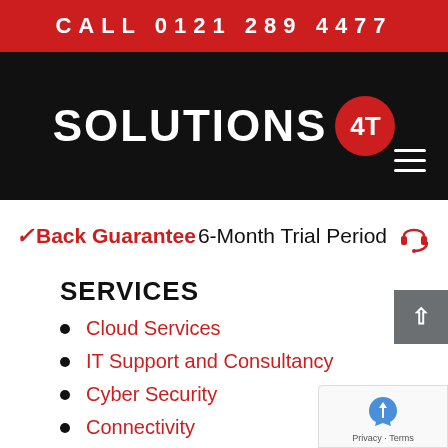CALL 0121 289 4477
[Figure (logo): Solutions 4T logo on black background with red circle badge and hamburger menu icon]
Back Guarantee 6-Month Trial Period
SERVICES
Cloud Services
IT Support and Consultancy
Cyber Security
Connectivity
Managed Print